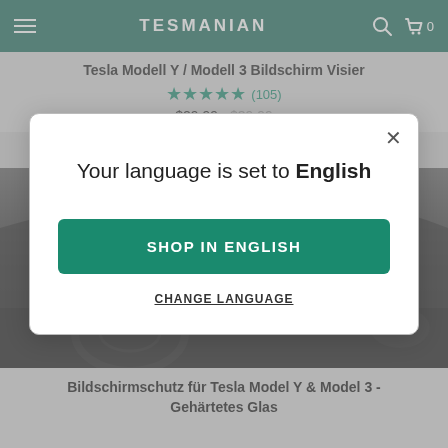TESMANIAN
Tesla Modell Y / Modell 3 Bildschirm Visier
★★★★★ (105) $29.99 $39.99
[Figure (screenshot): Tesla Model Y / Model 3 dashboard interior showing screen protector product]
Your language is set to English
SHOP IN ENGLISH
CHANGE LANGUAGE
Bildschirmschutz für Tesla Model Y & Model 3 - Gehärtetes Glas